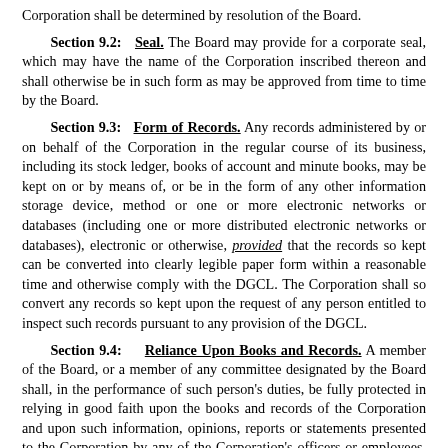Corporation shall be determined by resolution of the Board.
Section 9.2: Seal. The Board may provide for a corporate seal, which may have the name of the Corporation inscribed thereon and shall otherwise be in such form as may be approved from time to time by the Board.
Section 9.3: Form of Records. Any records administered by or on behalf of the Corporation in the regular course of its business, including its stock ledger, books of account and minute books, may be kept on or by means of, or be in the form of any other information storage device, method or one or more electronic networks or databases (including one or more distributed electronic networks or databases), electronic or otherwise, provided that the records so kept can be converted into clearly legible paper form within a reasonable time and otherwise comply with the DGCL. The Corporation shall so convert any records so kept upon the request of any person entitled to inspect such records pursuant to any provision of the DGCL.
Section 9.4: Reliance Upon Books and Records. A member of the Board, or a member of any committee designated by the Board shall, in the performance of such person's duties, be fully protected in relying in good faith upon the books and records of the Corporation and upon such information, opinions, reports or statements presented to the Corporation by any of the Corporation's officers or employees, or committees of the Board, or by any other person as to matters the member reasonably